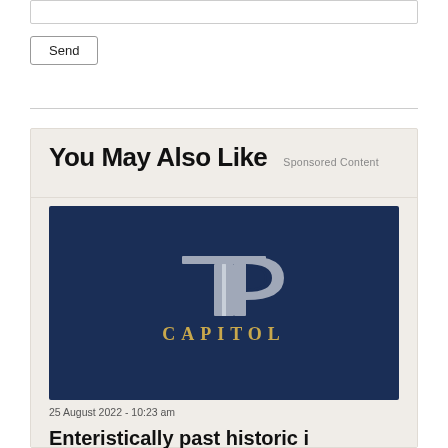Send
You May Also Like   Sponsored Content
[Figure (logo): Capitol logo on dark navy background — overlapping T and P letters in silver/grey with serif style, and 'CAPITOL' text below in gold serif capitals]
25 August 2022 - 10:23 am
Enteristicly past historic i...